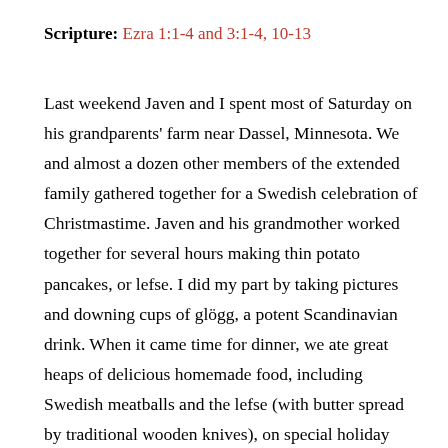Scripture: Ezra 1:1-4 and 3:1-4, 10-13
Last weekend Javen and I spent most of Saturday on his grandparents' farm near Dassel, Minnesota. We and almost a dozen other members of the extended family gathered together for a Swedish celebration of Christmastime. Javen and his grandmother worked together for several hours making thin potato pancakes, or lefse. I did my part by taking pictures and downing cups of glögg, a potent Scandinavian drink. When it came time for dinner, we ate great heaps of delicious homemade food, including Swedish meatballs and the lefse (with butter spread by traditional wooden knives), on special holiday china that Grandma Aileen has had for many years.